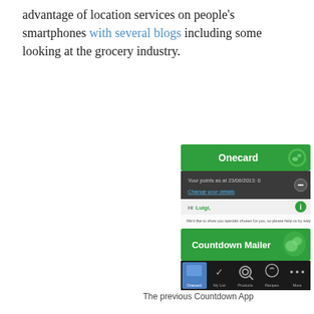advantage of location services on people's smartphones with several blogs including some looking at the grocery industry.
[Figure (screenshot): Screenshot of the Onecard section of the Countdown mobile app showing points balance, user greeting for Luigi, and a message to swipe Onecard for personalised specials.]
[Figure (screenshot): Screenshot of the Countdown Mailer section of the app with navigation tabs: Onecard, My List, Products, Recipes, More.]
The previous Countdown App